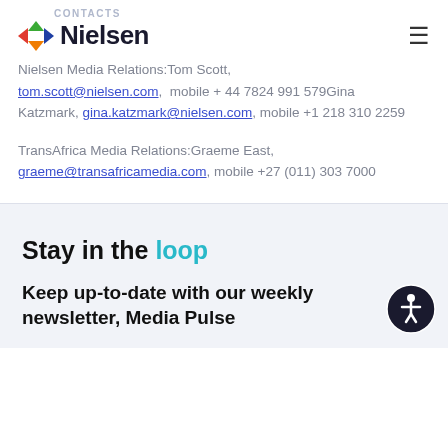CONTACTS
[Figure (logo): Nielsen logo with colorful arrow shapes]
Nielsen Media Relations:Tom Scott, tom.scott@nielsen.com, mobile + 44 7824 991 579Gina Katzmark, gina.katzmark@nielsen.com, mobile +1 218 310 2259
TransAfrica Media Relations:Graeme East, graeme@transafricamedia.com, mobile +27 (011) 303 7000
Stay in the loop
Keep up-to-date with our weekly newsletter, Media Pulse